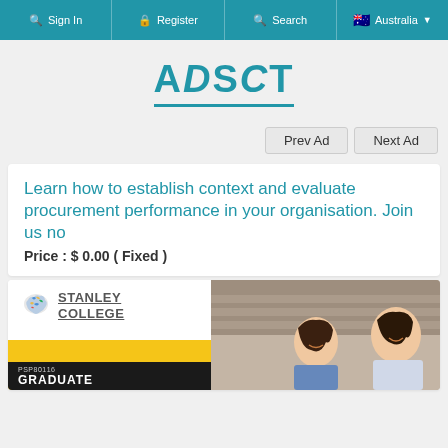Sign In | Register | Search | Australia
[Figure (logo): ADSCT logo with teal text and underline]
Prev Ad   Next Ad
Learn how to establish context and evaluate procurement performance in your organisation. Join us no
Price : $ 0.00 ( Fixed )
[Figure (photo): Stanley College advertisement image showing logo with colorful Australia map icon, STANLEY COLLEGE text, yellow block, black bar with PSP80116 and GRADUATE text, and photo of smiling students]